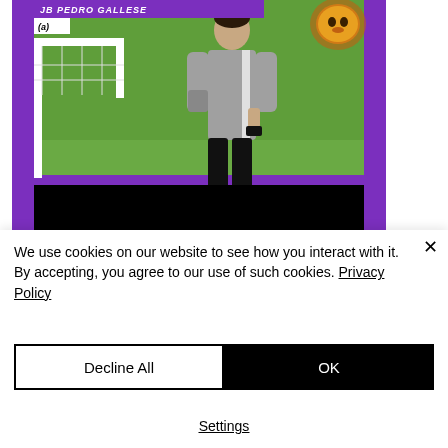[Figure (photo): Soccer/football card image with purple border showing a player (Pedro Gallese) in gray training gear walking near a goal post on a green field. Card has name 'JB PEDRO GALLESE' and '(a)' label at top left, and a lion mascot logo at top right. A black bar overlays the bottom of the photo.]
Charlotte FC (a) preview with Kyle
We use cookies on our website to see how you interact with it. By accepting, you agree to our use of such cookies. Privacy Policy
Decline All
OK
Settings